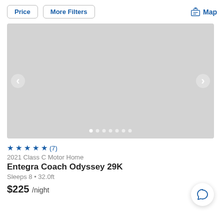Price   More Filters   Map
[Figure (photo): Gray placeholder image carousel for RV listing with left and right navigation arrows and 7 pagination dots at the bottom]
★★★★★ (7)
2021 Class C Motor Home
Entegra Coach Odyssey 29K
Sleeps 8 • 32.0ft
$225 /night